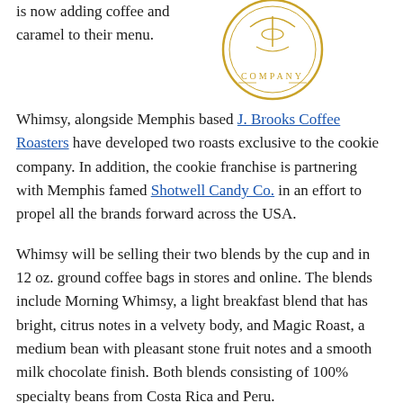is now adding coffee and caramel to their menu.
[Figure (logo): Circular gold/yellow logo with text 'COMPANY' at the bottom, decorative design inside circle]
Whimsy, alongside Memphis based J. Brooks Coffee Roasters have developed two roasts exclusive to the cookie company. In addition, the cookie franchise is partnering with Memphis famed Shotwell Candy Co. in an effort to propel all the brands forward across the USA.
Whimsy will be selling their two blends by the cup and in 12 oz. ground coffee bags in stores and online. The blends include Morning Whimsy, a light breakfast blend that has bright, citrus notes in a velvety body, and Magic Roast, a medium bean with pleasant stone fruit notes and a smooth milk chocolate finish. Both blends consisting of 100% specialty beans from Costa Rica and Peru.
“As a quality coffee roaster in the same hometown as Whimsy’s headquarters, we know our product will help Whimsy fans enjoy their treats even more.”